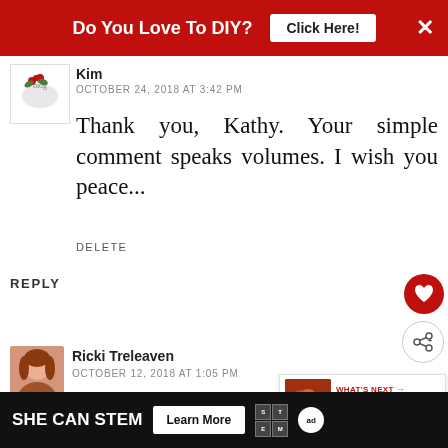[Figure (screenshot): Red banner advertisement: 'Do You Love To DIY? Click Here!' with X close button]
Kim
OCTOBER 24, 2018 AT 3:42 PM
Thank you, Kathy. Your simple comment speaks volumes. I wish you peace...
DELETE
REPLY
Ricki Treleaven
OCTOBER 12, 2018 AT 1:05 PM
A very touching and eloquent post. Grief is so hard, and sometimes it
[Figure (screenshot): What's Next panel: 'A Sentimental Treasure...' with food image thumbnail]
[Figure (screenshot): Bottom ad banner: SHE CAN STEM - Learn More - STEM logo - ad council logo]